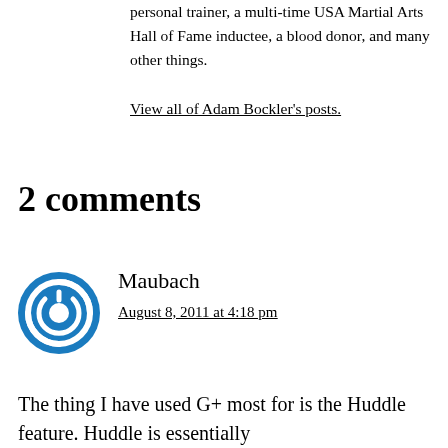personal trainer, a multi-time USA Martial Arts Hall of Fame inductee, a blood donor, and many other things.
View all of Adam Bockler's posts.
2 comments
Maubach
August 8, 2011 at 4:18 pm
The thing I have used G+ most for is the Huddle feature. Huddle is essentially